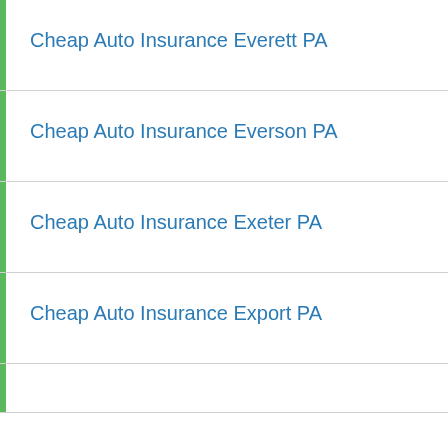Cheap Auto Insurance Everett PA
Cheap Auto Insurance Everson PA
Cheap Auto Insurance Exeter PA
Cheap Auto Insurance Export PA